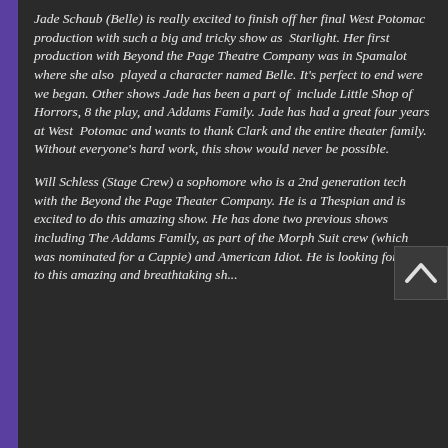Jade Schaub (Belle) is really excited to finish off her final West Potomac production with such a big and tricky show as Starlight. Her first production with Beyond the Page Theatre Company was in Spamalot where she also played a character named Belle. It's perfect to end were we began. Other shows Jade has been a part of include Little Shop of Horrors, 8 the play, and Addams Family. Jade has had a great four years at West Potomac and wants to thank Clark and the entire theater family. Without everyone's hard work, this show would never be possible.
Will Schless (Stage Crew) a sophomore who is a 2nd generation tech with the Beyond the Page Theater Company. He is a Thespian and is excited to do this amazing show. He has done two previous shows including The Addams Family, as part of the Morph Suit crew (which was nominated for a Cappie) and American Idiot. He is looking forward to this amazing and breathtaking show...